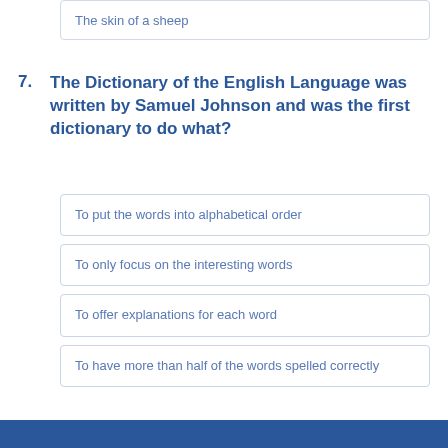The skin of a sheep
7.  The Dictionary of the English Language was written by Samuel Johnson and was the first dictionary to do what?
To put the words into alphabetical order
To only focus on the interesting words
To offer explanations for each word
To have more than half of the words spelled correctly